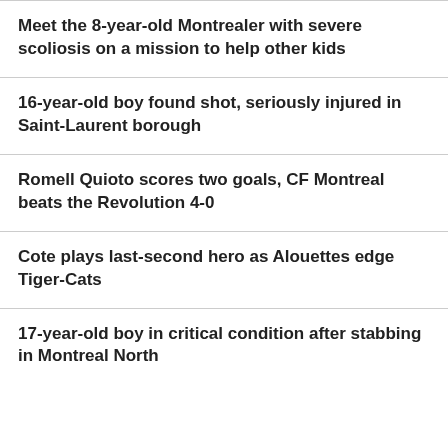Meet the 8-year-old Montrealer with severe scoliosis on a mission to help other kids
16-year-old boy found shot, seriously injured in Saint-Laurent borough
Romell Quioto scores two goals, CF Montreal beats the Revolution 4-0
Cote plays last-second hero as Alouettes edge Tiger-Cats
17-year-old boy in critical condition after stabbing in Montreal North